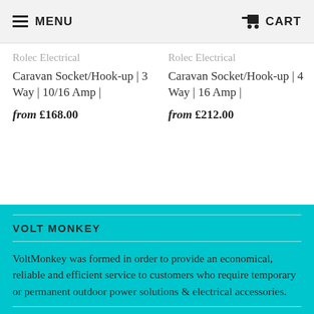MENU   CART
Rolec Electrical Caravan Socket/Hook-up | 3 Way | 10/16 Amp | from £168.00
Rolec Electrical Caravan Socket/Hook-up | 4 Way | 16 Amp | from £212.00
VOLT MONKEY
VoltMonkey was formed in order to provide an economical, reliable and efficient service to customers who require temporary or permanent outdoor power solutions & electrical accessories.
QUICK LINKS